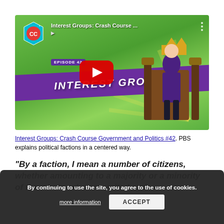[Figure (screenshot): YouTube video thumbnail for 'Interest Groups: Crash Course Government and Politics #42' showing animated characters, purple banner with 'INTEREST GROUPS' text, Crash Course CC logo, and a red YouTube play button on a green background.]
Interest Groups: Crash Course Government and Politics #42. PBS explains political factions in a centered way.
"By a faction, I mean a number of citizens, whether amounting to a majority or a minority of the whole, who are united and
By continuing to use the site, you agree to the use of cookies. more information ACCEPT